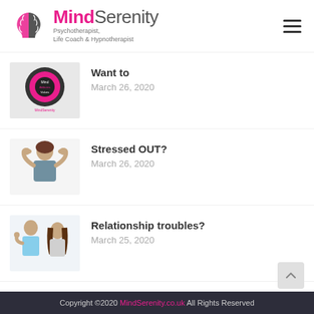MindSerenity - Psychotherapist, Life Coach & Hypnotherapist
Want to - March 26, 2020
Stressed OUT? - March 26, 2020
Relationship troubles? - March 25, 2020
Copyright ©2020 MindSerenity.co.uk All Rights Reserved